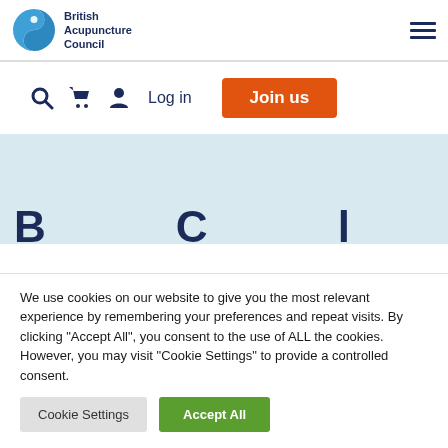[Figure (logo): British Acupuncture Council logo — circular blue yin-yang style icon with text 'British Acupuncture Council' to the right]
[Figure (infographic): Navigation bar with search icon, cart icon, user icon, 'Log in' text, and an orange 'Join us' button]
[Figure (screenshot): Light blue banner section with large dark blue text partially visible at bottom]
We use cookies on our website to give you the most relevant experience by remembering your preferences and repeat visits. By clicking "Accept All", you consent to the use of ALL the cookies. However, you may visit "Cookie Settings" to provide a controlled consent.